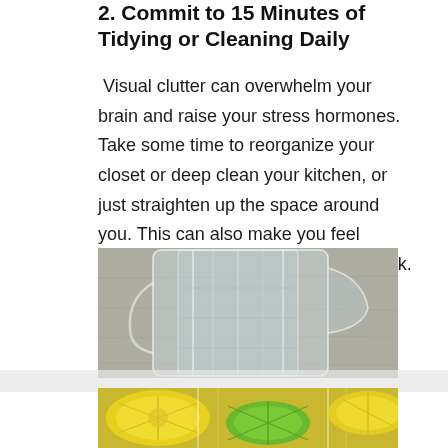2. Commit to 15 Minutes of Tidying or Cleaning Daily
Visual clutter can overwhelm your brain and raise your stress hormones. Take some time to reorganize your closet or deep clean your kitchen, or just straighten up the space around you. This can also make you feel productive while doing a low effort task.
[Figure (photo): A glass pitcher or measuring cup with citrus slices (lemon/lime) visible inside, photographed on a gray stone surface. Upper portion shows the clear glass vessel, lower portion shows yellow and green citrus fruits inside.]